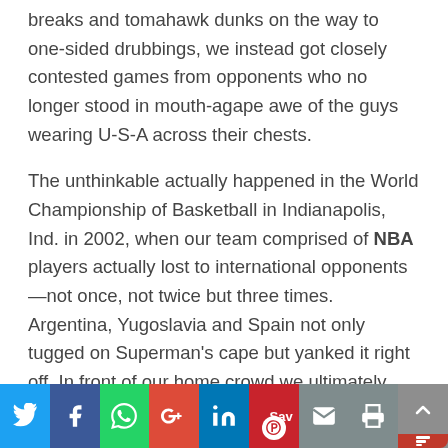breaks and tomahawk dunks on the way to one-sided drubbings, we instead got closely contested games from opponents who no longer stood in mouth-agape awe of the guys wearing U-S-A across their chests.
The unthinkable actually happened in the World Championship of Basketball in Indianapolis, Ind. in 2002, when our team comprised of NBA players actually lost to international opponents—not once, not twice but three times. Argentina, Yugoslavia and Spain not only tugged on Superman's cape but yanked it right off. In front of our home crowd we ultimately placed an embarrassing sixth place overall in the tournament and as bad as that was, the nadir of U.S. basketball came two
[Figure (other): Social media sharing bar with buttons: Twitter (blue), Facebook (dark blue), WhatsApp (green), Google+ (red), LinkedIn (blue), Pinterest/Save (red with circle), Email (grey), Print (grey), Up arrow (grey with red accent)]